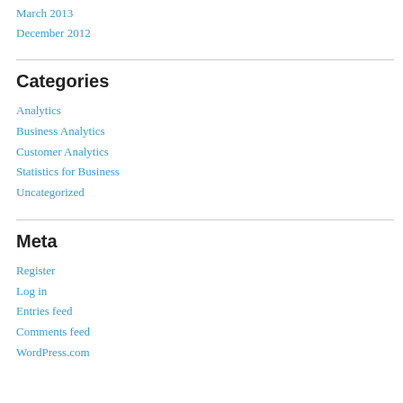March 2013
December 2012
Categories
Analytics
Business Analytics
Customer Analytics
Statistics for Business
Uncategorized
Meta
Register
Log in
Entries feed
Comments feed
WordPress.com